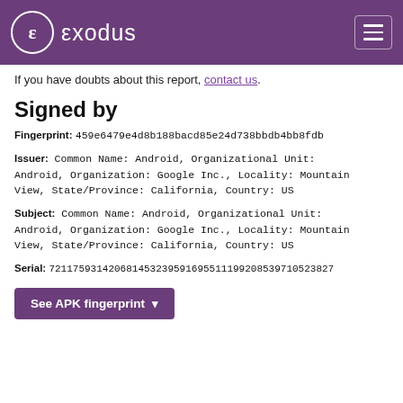exodus
If you have doubts about this report, contact us.
Signed by
Fingerprint: 459e6479e4d8b188bacd85e24d738bbdb4bb8fdb
Issuer: Common Name: Android, Organizational Unit: Android, Organization: Google Inc., Locality: Mountain View, State/Province: California, Country: US
Subject: Common Name: Android, Organizational Unit: Android, Organization: Google Inc., Locality: Mountain View, State/Province: California, Country: US
Serial: 72117593142068145323959169551119920853971052382
See APK fingerprint